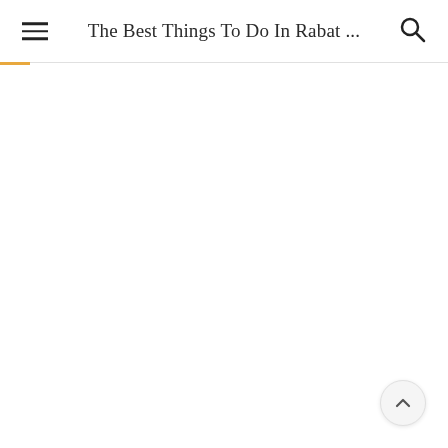The Best Things To Do In Rabat ...